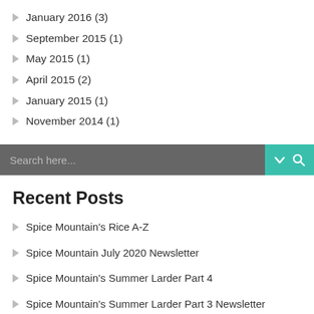January 2016 (3)
September 2015 (1)
May 2015 (1)
April 2015 (2)
January 2015 (1)
November 2014 (1)
[Figure (other): Search bar with text 'Search here...' and teal search icon buttons]
Recent Posts
Spice Mountain's Rice A-Z
Spice Mountain July 2020 Newsletter
Spice Mountain's Summer Larder Part 4
Spice Mountain's Summer Larder Part 3 Newsletter